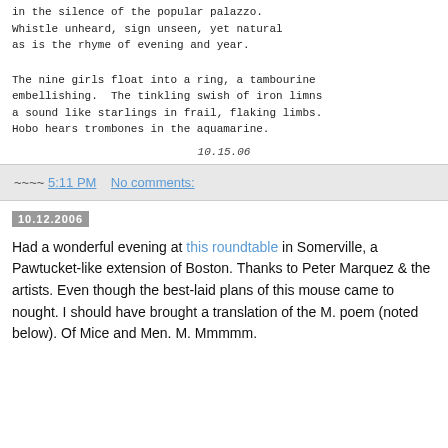in the silence of the popular palazzo.
Whistle unheard, sign unseen, yet natural
as is the rhyme of evening and year.
The nine girls float into a ring, a tambourine
embellishing.  The tinkling swish of iron limns
a sound like starlings in frail, flaking limbs.
Hobo hears trombones in the aquamarine.
10.15.06
~~~~ 5:11 PM    No comments:
10.12.2006
Had a wonderful evening at this roundtable in Somerville, a Pawtucket-like extension of Boston. Thanks to Peter Marquez & the artists. Even though the best-laid plans of this mouse came to nought. I should have brought a translation of the M. poem (noted below). Of Mice and Men. M. Mmmmm.